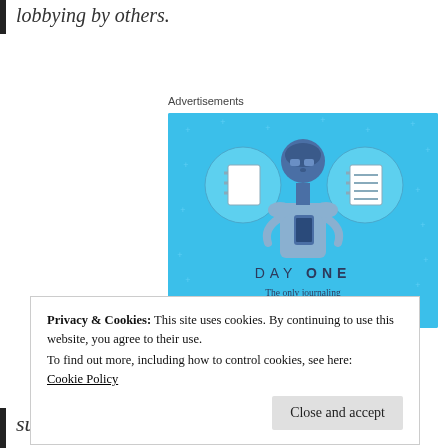lobbying by others.
Advertisements
[Figure (illustration): Day One journaling app advertisement with blue background, illustrated figure holding phone flanked by two circular notebook icons, text 'DAY ONE' and tagline 'The only journaling app you'll ever need.']
Privacy & Cookies: This site uses cookies. By continuing to use this website, you agree to their use.
To find out more, including how to control cookies, see here:
Cookie Policy
suggestions for what schools should do